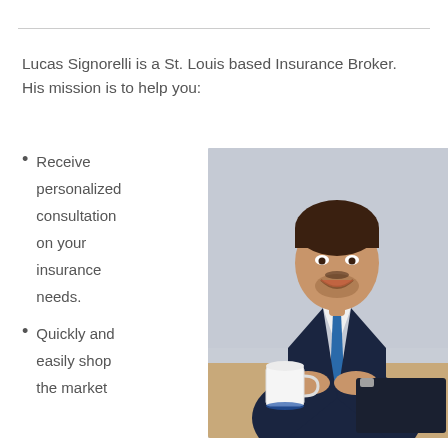Lucas Signorelli is a St. Louis based Insurance Broker. His mission is to help you:
Receive personalized consultation on your insurance needs.
Quickly and easily shop the market
[Figure (photo): Professional headshot of Lucas Signorelli, a man in a dark navy suit with a blue tie, sitting at a desk with a white coffee mug and a dark notebook, smiling at the camera against a grey background.]